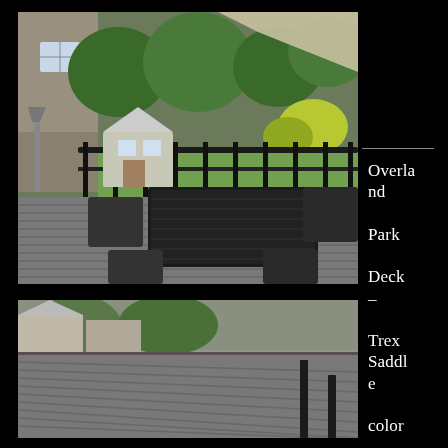[Figure (photo): Outdoor deck with grey composite boards, dark railing, patio dining set with umbrella shade, playhouse and garden in background]
[Figure (photo): Close-up of grey composite deck boards with dark chair legs visible, backyard with playhouse and storage shed in background]
Overland Park Deck – Trex Saddle color with Fortress